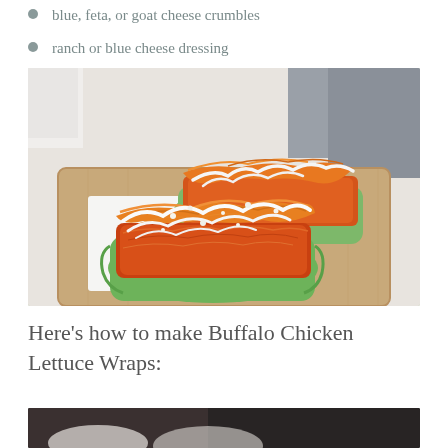blue, feta, or goat cheese crumbles
ranch or blue cheese dressing
[Figure (photo): Buffalo chicken lettuce wraps served on a wooden cutting board, topped with shredded carrots and white ranch/blue cheese dressing drizzled over lettuce cups filled with orange buffalo chicken.]
Here’s how to make Buffalo Chicken Lettuce Wraps:
[Figure (photo): Partially visible photo at bottom of page, dark background, beginning of next instructional image.]